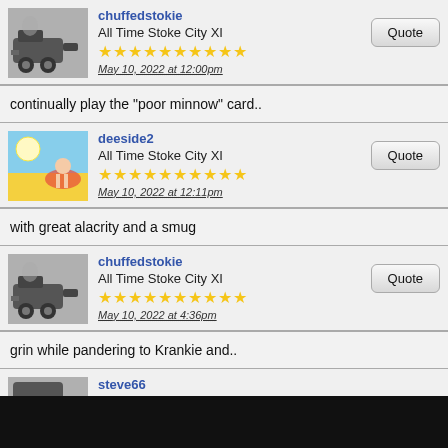chuffedstokie
All Time Stoke City XI
May 10, 2022 at 12:00pm
continually play the "poor minnow" card..
deeside2
All Time Stoke City XI
May 10, 2022 at 12:11pm
with great alacrity and a smug
chuffedstokie
All Time Stoke City XI
May 10, 2022 at 4:36pm
grin while pandering to Krankie and..
steve66
All Time Stoke City XI